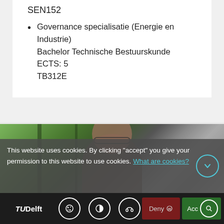SEN152
Governance specialisatie (Energie en Industrie)
Bachelor Technische Bestuurskunde
ECTS: 5
TB312E
[Figure (photo): Partial photo of a person wearing glasses, partially obscured by a cookie consent overlay]
This website uses cookies. By clicking "accept" you give your permission to this website to use cookies. What are cookies?
[Figure (logo): TU Delft logo with navigation icons (cookie, contrast, audio), Deny button, and Accept button with search icon]